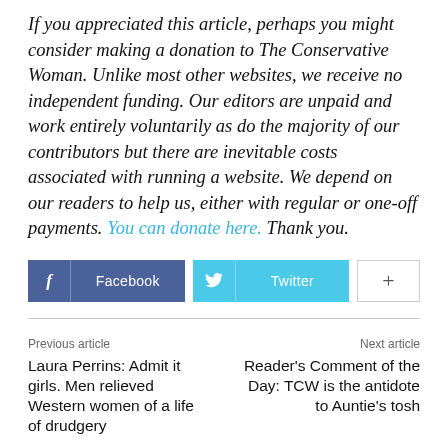If you appreciated this article, perhaps you might consider making a donation to The Conservative Woman. Unlike most other websites, we receive no independent funding. Our editors are unpaid and work entirely voluntarily as do the majority of our contributors but there are inevitable costs associated with running a website. We depend on our readers to help us, either with regular or one-off payments. You can donate here. Thank you.
[Figure (infographic): Social sharing buttons: Facebook (blue/indigo), Twitter (cyan), and a plus (+) button (white with border)]
Previous article
Laura Perrins: Admit it girls. Men relieved Western women of a life of drudgery
Next article
Reader's Comment of the Day: TCW is the antidote to Auntie's tosh